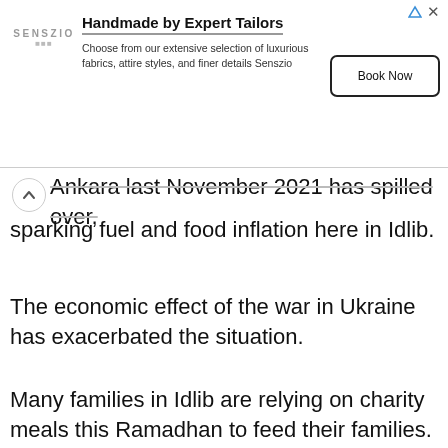[Figure (other): Advertisement banner for Senszio tailors: logo on left, headline 'Handmade by Expert Tailors', body text 'Choose from our extensive selection of luxurious fabrics, attire styles, and finer details Senszio', Book Now button on right]
Ankara last November 2021 has spilled over, sparking fuel and food inflation here in Idlib.
The economic effect of the war in Ukraine has exacerbated the situation.
Many families in Idlib are relying on charity meals this Ramadhan to feed their families.